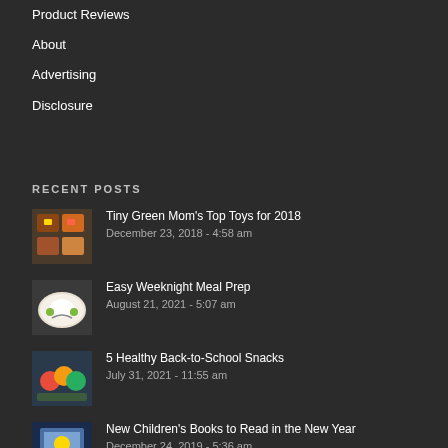Product Reviews
About
Advertising
Disclosure
RECENT POSTS
Tiny Green Mom’s Top Toys for 2018
December 23, 2018 - 4:58 am
Easy Weeknight Meal Prep
August 21, 2021 - 5:07 am
5 Healthy Back-to-School Snacks
July 31, 2021 - 11:55 am
New Children’s Books to Read in the New Year
December 24, 2019 - 5:36 am